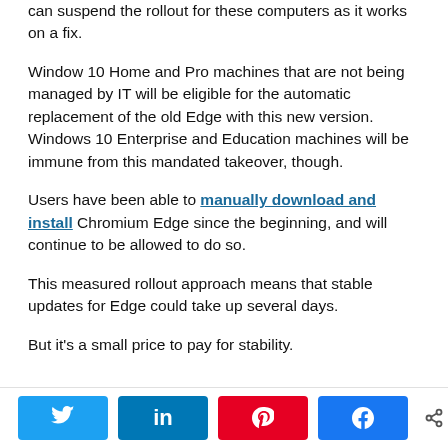can suspend the rollout for these computers as it works on a fix.
Window 10 Home and Pro machines that are not being managed by IT will be eligible for the automatic replacement of the old Edge with this new version. Windows 10 Enterprise and Education machines will be immune from this mandated takeover, though.
Users have been able to manually download and install Chromium Edge since the beginning, and will continue to be allowed to do so.
This measured rollout approach means that stable updates for Edge could take up several days.
But it's a small price to pay for stability.
0 SHARES — Twitter, LinkedIn, Pinterest, Facebook share buttons